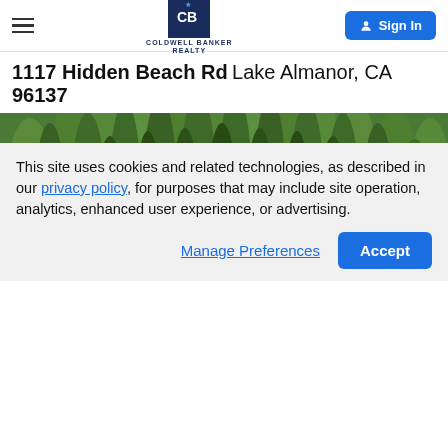Coldwell Banker Realty — navigation header with hamburger menu, logo, and Sign In button
1117 Hidden Beach Rd Lake Almanor, CA 96137
[Figure (photo): Aerial drone photo of a forested lot at 1117 Hidden Beach Rd, Lake Almanor CA, surrounded by tall pine trees. A red polygon outlines the property boundary in the center of the image.]
This site uses cookies and related technologies, as described in our privacy policy, for purposes that may include site operation, analytics, enhanced user experience, or advertising.
Manage Preferences  Accept